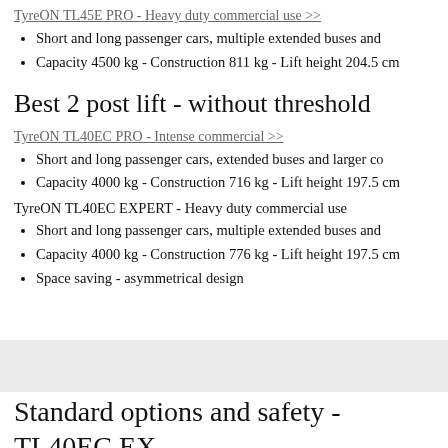TyreON TL45E PRO - Heavy duty commercial use >>
Short and long passenger cars, multiple extended buses and
Capacity 4500 kg - Construction 811 kg - Lift height 204.5 cm
Best 2 post lift - without threshold
TyreON TL40EC PRO - Intense commercial >>
Short and long passenger cars, extended buses and larger co
Capacity 4000 kg - Construction 716 kg - Lift height 197.5 cm
TyreON TL40EC EXPERT - Heavy duty commercial use
Short and long passenger cars, multiple extended buses and
Capacity 4000 kg - Construction 776 kg - Lift height 197.5 cm
Space saving - asymmetrical design
Standard options and safety - TL40EC EX asymmetric lift